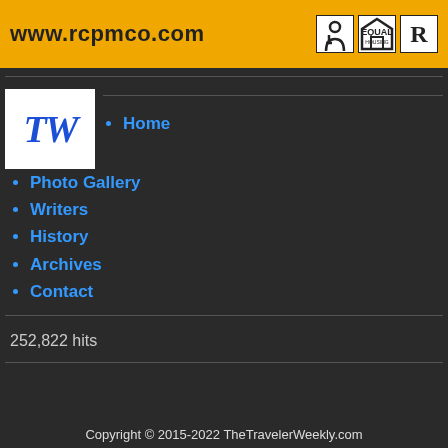[Figure (other): Yellow banner advertisement for rcpmco.com with accessibility, equal housing, and realtor icons]
[Figure (logo): TW logo in blue italic bold text on white background, representing TheTravelerWeekly]
Home
Photo Gallery
Writers
History
Archives
Contact
252,822 hits
Copyright © 2015-2022 TheTravelerWeekly.com